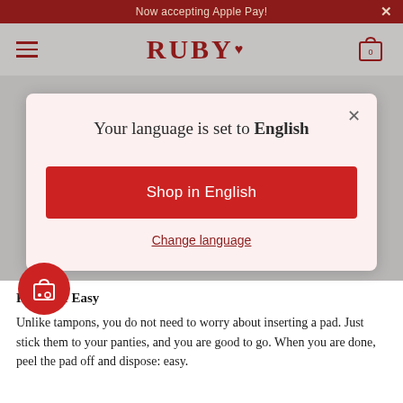Now accepting Apple Pay!
[Figure (logo): RUBY brand logo with heart icon, hamburger menu, and shopping bag with 0 count]
Your language is set to English
Shop in English
Change language
Pads Are Easy
Unlike tampons, you do not need to worry about inserting a pad. Just stick them to your panties, and you are good to go. When you are done, peel the pad off and dispose: easy.